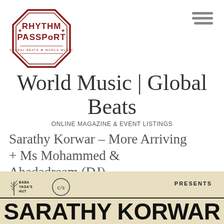[Figure (logo): Rhythm Passport logo — octagonal stamp design in dark red/maroon with text 'RHYTHM PASSPORT' and 'GLOBAL BEATS ★ WORLD MUSIC']
[Figure (other): Hamburger menu icon — three horizontal grey lines stacked]
World Music | Global Beats
ONLINE MAGAZINE & EVENT LISTINGS
Sarathy Korwar – More Arriving + Ms Mohammed & Ahadadream (DJ)
[Figure (illustration): Event flyer bottom portion: beige/cream background, Baba Yaga's Hut logo and C/S circular logo on left, 'PRESENTS' text on right, horizontal rule, then large bold text 'SARATHY KORWAR' partially visible at bottom]